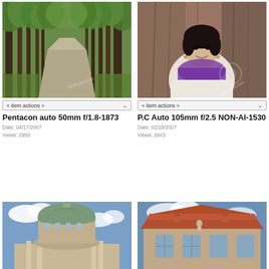[Figure (photo): Tree-lined path in a park, green foliage, pathway receding into distance]
« item actions »
Pentacon auto 50mm f/1.8-1873
Date: 04/17/2007
Views: 2959
[Figure (photo): Portrait of a woman with dark hair, purple scarf, leaning against a tree trunk, MFlenses.com watermark]
« item actions »
P.C Auto 105mm f/2.5 NON-AI-1530
Date: 02/18/2007
Views: 2943
[Figure (photo): Dome of a large neoclassical building against blue sky with clouds]
[Figure (photo): Old town hall or historic building with red tile roof, statue in front, blue sky]